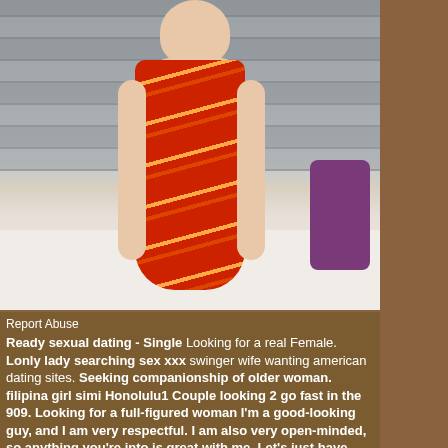[Figure (photo): A person wearing a red and orange striped dress standing in a room with a stone wall background and purple pillow on a bed]
Report Abuse
Ready sexual dating - Single Looking for a real Female. Lonly lady searching sex xxx swinger wife wanting american dating sites. Seeking companionship of older woman. filipina girl simi Honolulu1 Couple looking 2 go fast in the 909. Looking for a full-figured woman I'm a good-looking guy, and I am very respectful. I am also very open-minded, so anything you're into is great with me. Let's just have some fun! What I'm looking for is a full-figured